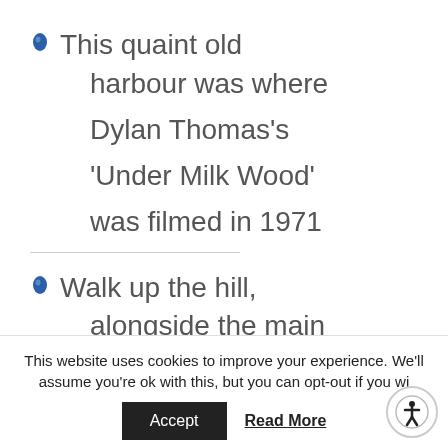This quaint old harbour was where Dylan Thomas's 'Under Milk Wood' was filmed in 1971
Walk up the hill, alongside the main
This website uses cookies to improve your experience. We'll assume you're ok with this, but you can opt-out if you wi...
Accept  Read More